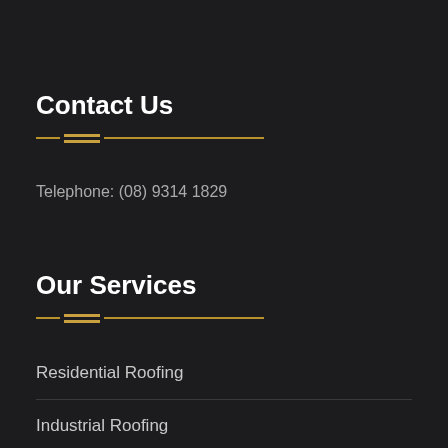Contact Us
Telephone: (08) 9314 1829
Our Services
Residential Roofing
Industrial Roofing
Commercial Roofing